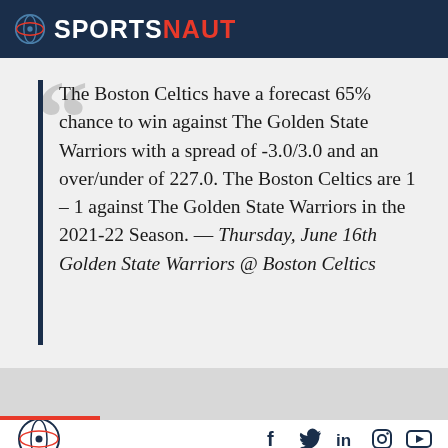SPORTSNAUT
The Boston Celtics have a forecast 65% chance to win against The Golden State Warriors with a spread of -3.0/3.0 and an over/under of 227.0. The Boston Celtics are 1 – 1 against The Golden State Warriors in the 2021-22 Season. — Thursday, June 16th Golden State Warriors @ Boston Celtics
Social icons: Facebook, Twitter, LinkedIn, Instagram, YouTube